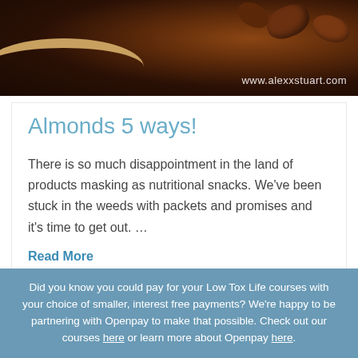[Figure (photo): Dark bowl of almonds/nuts with www.alexxstuart.com watermark in bottom-right corner]
Almonds 5 ways!
There is so much disappointment in the land of products masking as nutritional snacks. We've been stuck in the weeds with packets and promises and it's time to get out. …
Read More
Did you know you could pay for your Low Tox Life courses with your choice of smaller, interest free payments? We're happy to be partnering with Openpay to make that possible. Check out our courses here or learn more about Openpay here.